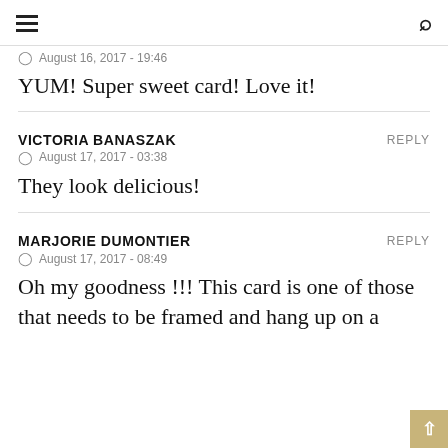≡  🔍
August 16, 2017 - 19:46
YUM! Super sweet card! Love it!
VICTORIA BANASZAK    REPLY
August 17, 2017 - 03:38
They look delicious!
MARJORIE DUMONTIER    REPLY
August 17, 2017 - 08:49
Oh my goodness !!! This card is one of those that needs to be framed and hang up on a